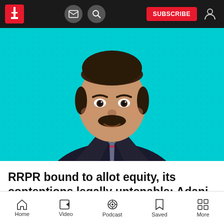SUBSCRIBE
[Figure (photo): Portrait photo of a man in a dark suit with a striped tie on a teal/cyan background]
RRPR bound to allot equity, its contentions legally untenable: Adani Group
Home  Video  Podcast  Saved  More